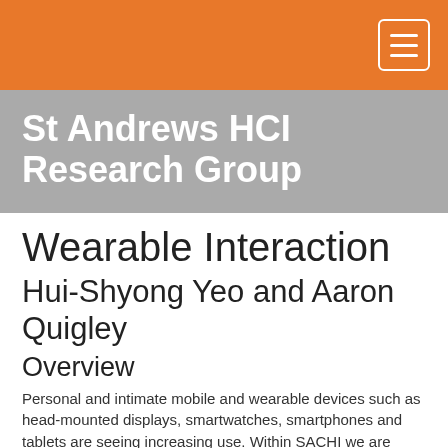St Andrews HCI Research Group
Wearable Interaction
Hui-Shyong Yeo and Aaron Quigley
Overview
Personal and intimate mobile and wearable devices such as head-mounted displays, smartwatches, smartphones and tablets are seeing increasing use. Within SACHI we are interested in wearable devices, wearable displays, wearable interaction and the patterns with wearable systems.